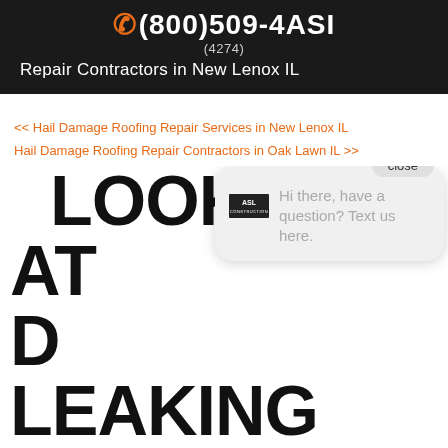(800)509-4ASI (4274) Repair Contractors in New Lenox IL
<< Hail Damage Roofing Repair Services in New Lenox IL
Hail Damage Roofing Repair Contractors in Oak Lawn IL >>
LOOKING AT DURABLE LEAKING ROOFING NEW LENOX IL?
[Figure (screenshot): Chat popup with ASL Construction logo saying 'Hi there, have a question? Text us here.' with a close button and blue chat bubble icon]